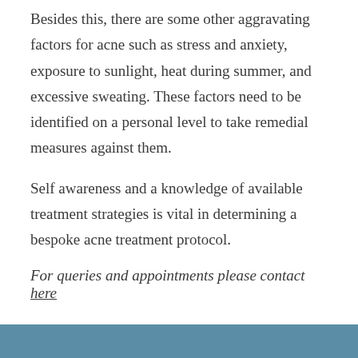Besides this, there are some other aggravating factors for acne such as stress and anxiety, exposure to sunlight, heat during summer, and excessive sweating. These factors need to be identified on a personal level to take remedial measures against them.
Self awareness and a knowledge of available treatment strategies is vital in determining a bespoke acne treatment protocol.
For queries and appointments please contact here